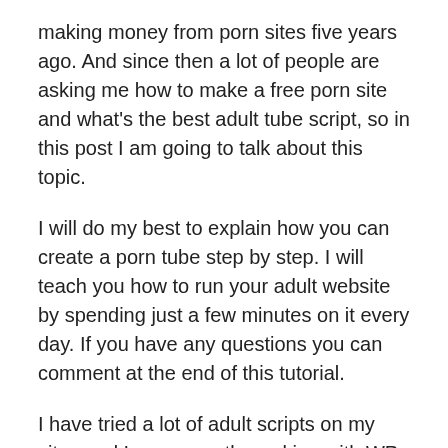making money from porn sites five years ago. And since then a lot of people are asking me how to make a free porn site and what's the best adult tube script, so in this post I am going to talk about this topic.
I will do my best to explain how you can create a porn tube step by step. I will teach you how to run your adult website by spending just a few minutes on it every day. If you have any questions you can comment at the end of this tutorial.
I have tried a lot of adult scripts on my sites and I am currently working with WP-Script. It is a WordPress based script and you can install it in just 10 minutes.